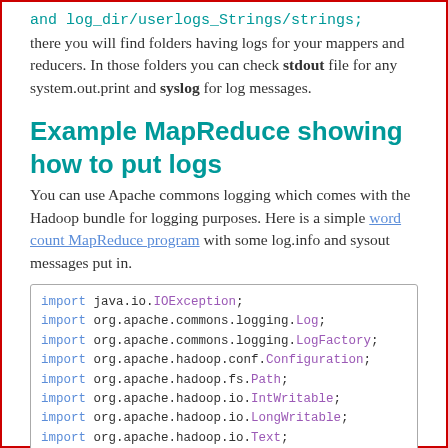and log_dir/userlogs_Strings/... strings there you will find folders having logs for your mappers and reducers. In those folders you can check stdout file for any system.out.print and syslog for log messages.
Example MapReduce showing how to put logs
You can use Apache commons logging which comes with the Hadoop bundle for logging purposes. Here is a simple word count MapReduce program with some log.info and sysout messages put in.
import java.io.IOException;
import org.apache.commons.logging.Log;
import org.apache.commons.logging.LogFactory;
import org.apache.hadoop.conf.Configuration;
import org.apache.hadoop.fs.Path;
import org.apache.hadoop.io.IntWritable;
import org.apache.hadoop.io.LongWritable;
import org.apache.hadoop.io.Text;
import org.apache.hadoop.mapreduce.Job;
import org.apache.hadoop.mapreduce.Mapper;